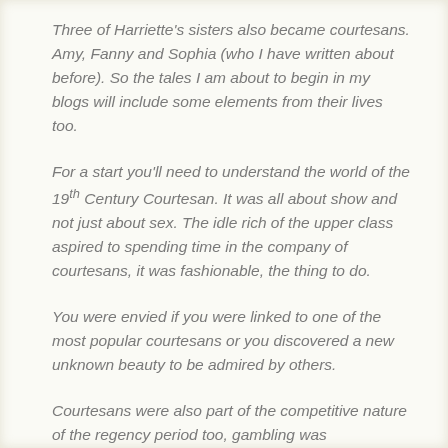Three of Harriette's sisters also became courtesans. Amy, Fanny and Sophia (who I have written about before). So the tales I am about to begin in my blogs will include some elements from their lives too.
For a start you'll need to understand the world of the 19th Century Courtesan. It was all about show and not just about sex. The idle rich of the upper class aspired to spending time in the company of courtesans, it was fashionable, the thing to do.
You were envied if you were linked to one of the most popular courtesans or you discovered a new unknown beauty to be admired by others.
Courtesans were also part of the competitive nature of the regency period too, gambling was